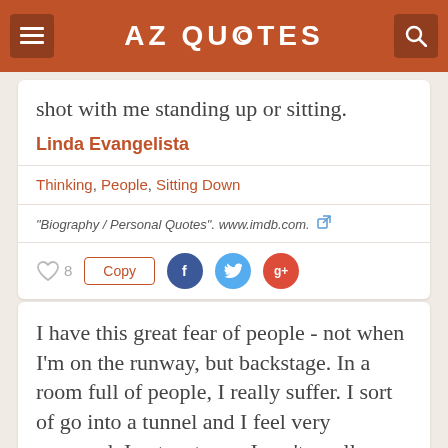AZ QUOTES
shot with me standing up or sitting.
Linda Evangelista
Thinking, People, Sitting Down
"Biography / Personal Quotes". www.imdb.com.
I have this great fear of people - not when I'm on the runway, but backstage. In a room full of people, I really suffer. I sort of go into a tunnel and I feel very removed. I get so tense, I can't swallow, and my